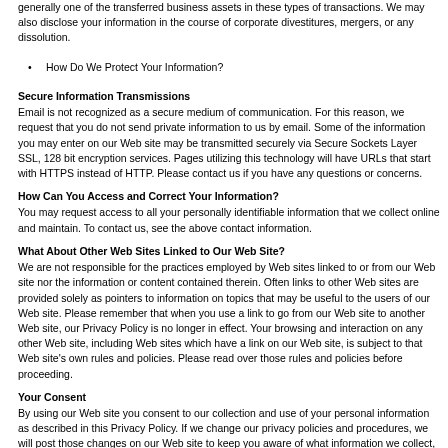generally one of the transferred business assets in these types of transactions. We may also disclose your information in the course of corporate divestitures, mergers, or any dissolution.
How Do We Protect Your Information?
Secure Information Transmissions
Email is not recognized as a secure medium of communication. For this reason, we request that you do not send private information to us by email. Some of the information you may enter on our Web site may be transmitted securely via Secure Sockets Layer SSL, 128 bit encryption services. Pages utilizing this technology will have URLs that start with HTTPS instead of HTTP. Please contact us if you have any questions or concerns.
How Can You Access and Correct Your Information?
You may request access to all your personally identifiable information that we collect online and maintain. To contact us, see the above contact information.
What About Other Web Sites Linked to Our Web Site?
We are not responsible for the practices employed by Web sites linked to or from our Web site nor the information or content contained therein. Often links to other Web sites are provided solely as pointers to information on topics that may be useful to the users of our Web site. Please remember that when you use a link to go from our Web site to another Web site, our Privacy Policy is no longer in effect. Your browsing and interaction on any other Web site, including Web sites which have a link on our Web site, is subject to that Web site's own rules and policies. Please read over those rules and policies before proceeding.
Your Consent
By using our Web site you consent to our collection and use of your personal information as described in this Privacy Policy. If we change our privacy policies and procedures, we will post those changes on our Web site to keep you aware of what information we collect, how we use it and under what circumstances we may disclose it. At any time, we will notify you of any and all changes and updates, via surface mail.